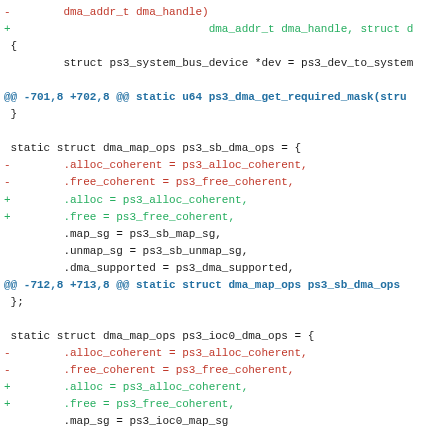Code diff showing changes to dma_map_ops structures in ps3 driver
[Figure (screenshot): Code diff showing removal and addition of .alloc_coherent/.free_coherent fields replaced by .alloc/.free in ps3_sb_dma_ops and ps3_ioc0_dma_ops structures]